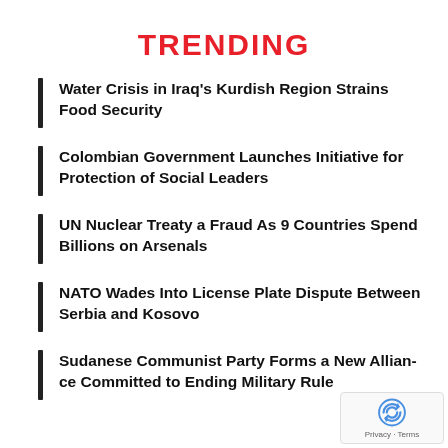TRENDING
Water Crisis in Iraq's Kurdish Region Strains Food Security
Colombian Government Launches Initiative for Protection of Social Leaders
UN Nuclear Treaty a Fraud As 9 Countries Spend Billions on Arsenals
NATO Wades Into License Plate Dispute Between Serbia and Kosovo
Sudanese Communist Party Forms a New Alliance Committed to Ending Military Rule